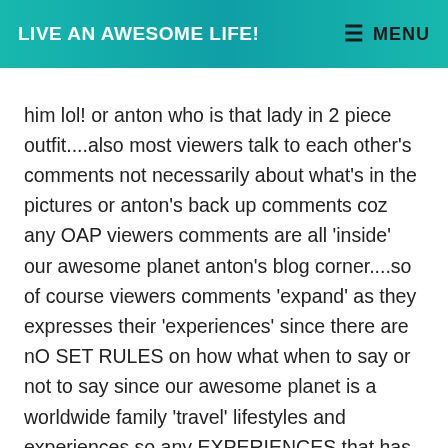LIVE AN AWESOME LIFE!    ≡ MENU
him lol! or anton who is that lady in 2 piece outfit....also most viewers talk to each other's comments not necessarily about what's in the pictures or anton's back up comments coz any OAP viewers comments are all 'inside' our awesome planet anton's blog corner....so of course viewers comments 'expand' as they expresses their 'experiences' since there are nO SET RULES on how what when to say or not to say since our awesome planet is a worldwide family 'travel' lifestyles and experiences so any EXPERIENCES that has something to do with families friends travels fashions cultures places fun experiences o dreams of places wanting to come true expertise o food or whatever is OF COURSE PART OF 'OUR AWESOME PLANET' as